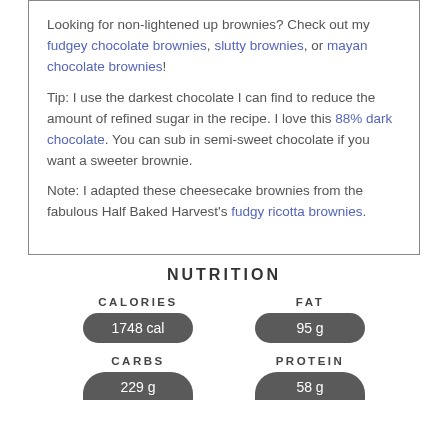Looking for non-lightened up brownies? Check out my fudgey chocolate brownies, slutty brownies, or mayan chocolate brownies!
Tip: I use the darkest chocolate I can find to reduce the amount of refined sugar in the recipe. I love this 88% dark chocolate. You can sub in semi-sweet chocolate if you want a sweeter brownie.
Note: I adapted these cheesecake brownies from the fabulous Half Baked Harvest's fudgy ricotta brownies.
NUTRITION
| CALORIES | FAT | CARBS | PROTEIN |
| --- | --- | --- | --- |
| 1748 cal | 95 g | 229 g | 58 g |